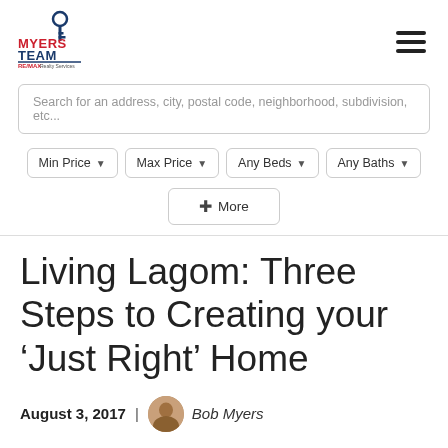[Figure (logo): Myers Team RE/MAX Realty Services logo with key icon]
Search for an address, city, postal code, neighborhood, subdivision, etc...
Min Price ▾   Max Price ▾   Any Beds ▾   Any Baths ▾
+ More
Living Lagom: Three Steps to Creating your ‘Just Right’ Home
August 3, 2017 | Bob Myers